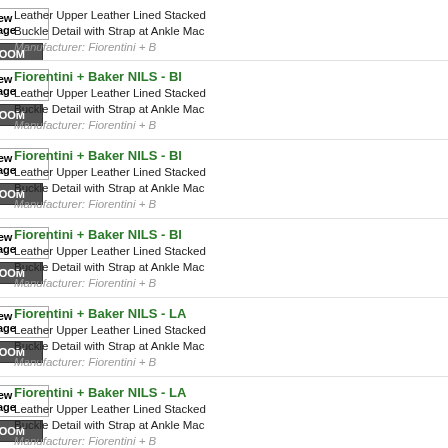Fiorentini + Baker NILS - Bl - Leather Upper Leather Lined Stacked Buckle Detail with Strap at Ankle Mac - Manufacturer: Fiorentini + B
Fiorentini + Baker NILS - Bl - Leather Upper Leather Lined Stacked Buckle Detail with Strap at Ankle Mac - Manufacturer: Fiorentini + B
Fiorentini + Baker NILS - Bl - Leather Upper Leather Lined Stacked Buckle Detail with Strap at Ankle Mac - Manufacturer: Fiorentini + B
Fiorentini + Baker NILS - LA - Leather Upper Leather Lined Stacked Buckle Detail with Strap at Ankle Mac - Manufacturer: Fiorentini + B
Fiorentini + Baker NILS - LA - Leather Upper Leather Lined Stacked Buckle Detail with Strap at Ankle Mac - Manufacturer: Fiorentini + B
Fiorentini + Baker NILS - LA - Leather Upper Leather Lined Stacked Buckle Detail with Strap at Ankle Mac - Manufacturer: Fiorentini + B
Fiorentini + Baker NILS - LA - Leather Upper Leather Lined Stacked Buckle Detail with Strap at Ankle Mac - Manufacturer: Fiorentini + B